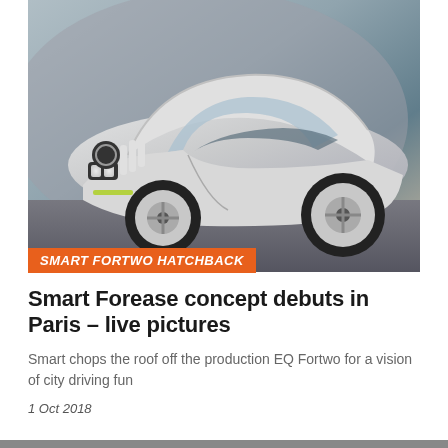[Figure (photo): White Smart Fortwo Hatchback concept car (convertible/open top) displayed at Paris motor show, front three-quarter view, on a dark exhibition floor with a scenic backdrop]
SMART FORTWO HATCHBACK
Smart Forease concept debuts in Paris - live pictures
Smart chops the roof off the production EQ Fortwo for a vision of city driving fun
1 Oct 2018